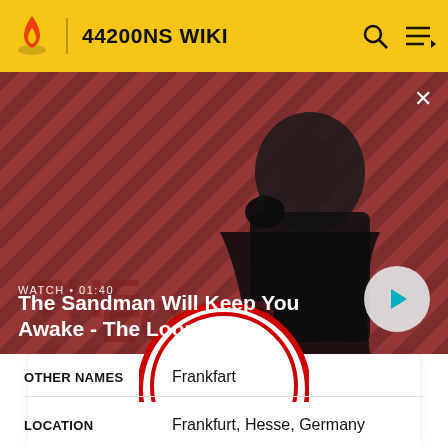44200NS WIKI
[Figure (screenshot): Hero banner showing a dark-clothed figure with a raven on shoulder against a red diagonal striped background. Text overlay: WATCH · 01:40. Title: The Sandman Will Keep You Awake - The Loop. Play button on right.]
OTHER NAMES   Frankfart
LOCATION   Frankfurt, Hesse, Germany